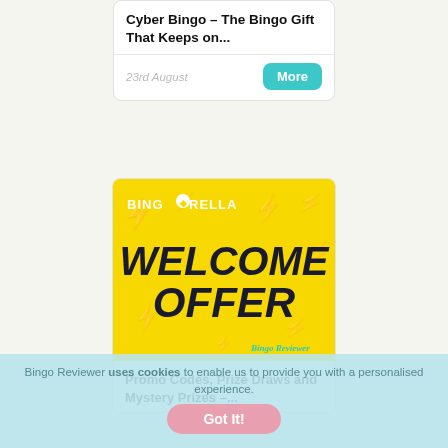Cyber Bingo – The Bingo Gift That Keeps on...
23rd August
[Figure (illustration): Bingorella welcome offer banner advertisement with yellow background, lightning bolt graphics, large bold text reading WELCOME OFFER, and Bingo Reviewer logo in corner]
Promo Codes, Prize Draws and Mystery Prizes –...
Bingo Reviewer uses cookies to enable us to provide you with a personalised experience.
Got It!